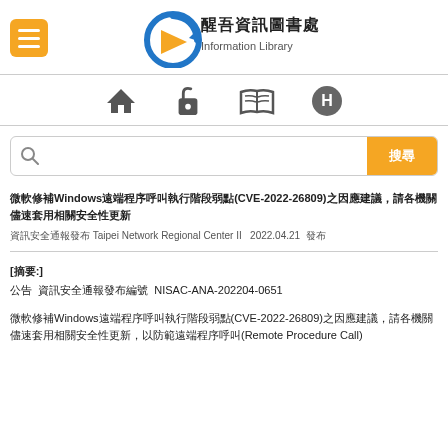[Figure (logo): Library information center logo with Chinese characters and circular arrow graphic]
[Figure (infographic): Navigation icons row: home, unlock/lock, open book, help circle (H)]
[Figure (screenshot): Search bar with magnifying glass icon and orange search button with Chinese characters]
微軟修補Windows遠端程序呼叫執行階段弱點(CVE-2022-26809)之因應建議，請各機關儘速套用相關安全性更新
資訊安全通報發布 Taipei Network Regional Center II  2022.04.21 發布
[摘要:]
公告 資訊安全通報發布編號 NISAC-ANA-202204-0651

微軟修補Windows遠端程序呼叫執行階段弱點(CVE-2022-26809)之因應建議，請各機關儘速套用相關安全性更新，以防範遠端程序呼叫(Remote Procedure Call)